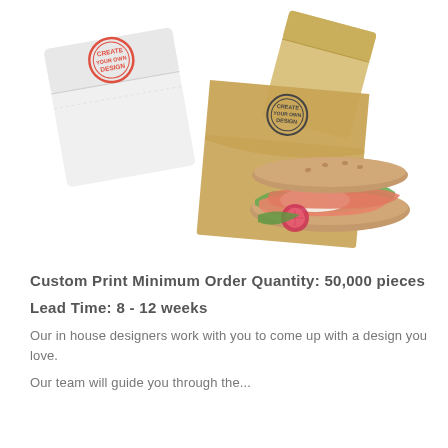[Figure (photo): Product photo showing custom-printed sandwich/food bags. A white flat bag with a red circular 'Create Your Own Design' stamp, a plain kraft/yellow bag, and a kraft bag holding an open-face sandwich with salmon, egg, lettuce, and radish. Both bags feature 'Create Your Own Design' circular logos.]
Custom Print Minimum Order Quantity: 50,000 pieces
Lead Time:  8 - 12 weeks
Our in house designers work with you to come up with a design you love.
Our team will guide you through the...